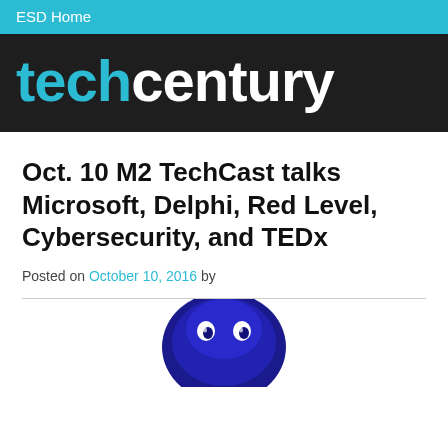ESD Home
techcentury
Oct. 10 M2 TechCast talks Microsoft, Delphi, Red Level, Cybersecurity, and TEDx
Posted on October 10, 2016 by
[Figure (photo): A blue cartoon or mascot figure, partially visible at bottom of page]